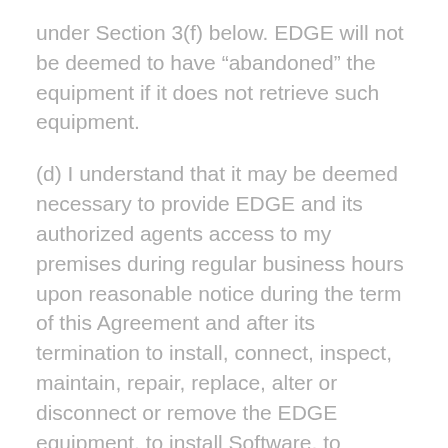under Section 3(f) below. EDGE will not be deemed to have "abandoned" the equipment if it does not retrieve such equipment.
(d) I understand that it may be deemed necessary to provide EDGE and its authorized agents access to my premises during regular business hours upon reasonable notice during the term of this Agreement and after its termination to install, connect, inspect, maintain, repair, replace, alter or disconnect or remove the EDGE equipment, to install Software, to conduct service theft audits, or to check for signal leakage. I agree that if EDGE is denied reasonable access to EDGE equipment located on my premises, EDGE may not be able to provide customer care, in which case I agree that and other Recurring Monthly Charges and